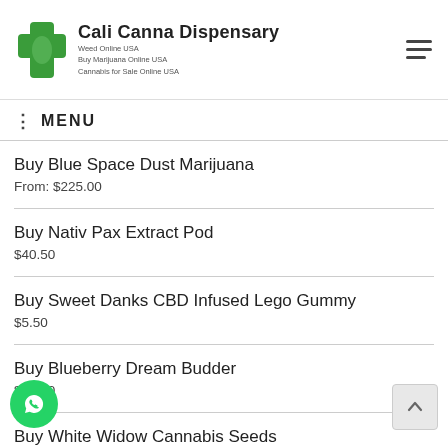Cali Canna Dispensary — Weed Online USA — Buy Marijuana Online USA — Cannabis for Sale Online USA
MENU
Buy Blue Space Dust Marijuana — From: $225.00
Buy Nativ Pax Extract Pod — $40.50
Buy Sweet Danks CBD Infused Lego Gummy — $5.50
Buy Blueberry Dream Budder — $20.30
Buy White Widow Cannabis Seeds